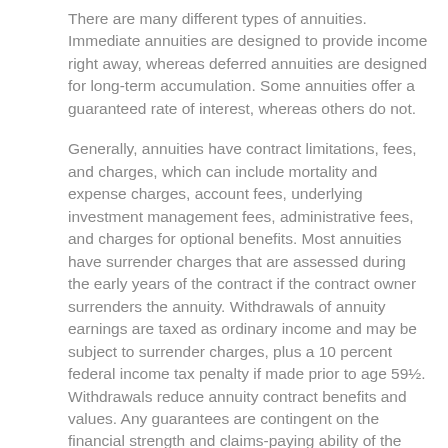There are many different types of annuities. Immediate annuities are designed to provide income right away, whereas deferred annuities are designed for long-term accumulation. Some annuities offer a guaranteed rate of interest, whereas others do not.
Generally, annuities have contract limitations, fees, and charges, which can include mortality and expense charges, account fees, underlying investment management fees, administrative fees, and charges for optional benefits. Most annuities have surrender charges that are assessed during the early years of the contract if the contract owner surrenders the annuity. Withdrawals of annuity earnings are taxed as ordinary income and may be subject to surrender charges, plus a 10 percent federal income tax penalty if made prior to age 59½. Withdrawals reduce annuity contract benefits and values. Any guarantees are contingent on the financial strength and claims-paying ability of the